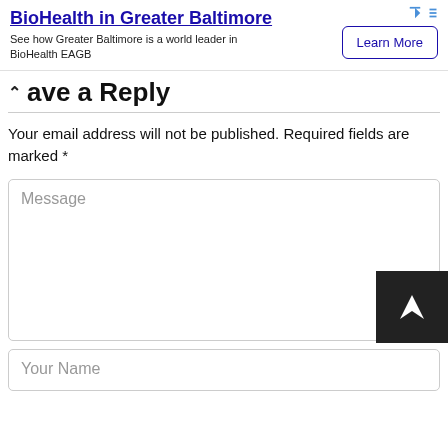[Figure (other): Advertisement banner for BioHealth in Greater Baltimore with Learn More button and ad icons]
ave a Reply
Your email address will not be published. Required fields are marked *
Message (text area placeholder)
Your Name (input placeholder)